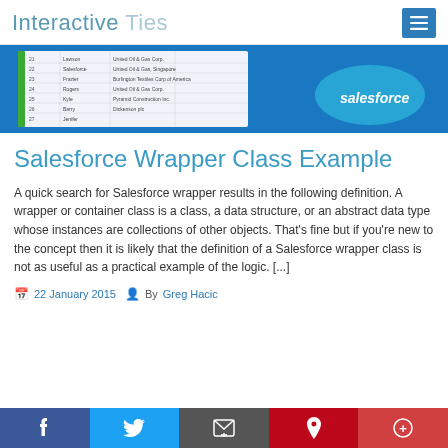Interactive Ties
[Figure (screenshot): A Salesforce spreadsheet/data view screenshot with a Salesforce logo cloud on the right side, on a blue banner background.]
Salesforce Wrapper Class Example
A quick search for Salesforce wrapper results in the following definition. A wrapper or container class is a class, a data structure, or an abstract data type whose instances are collections of other objects. That's fine but if you're new to the concept then it is likely that the definition of a Salesforce wrapper class is not as useful as a practical example of the logic. [...]
22 January 2015  By Greg Hacic